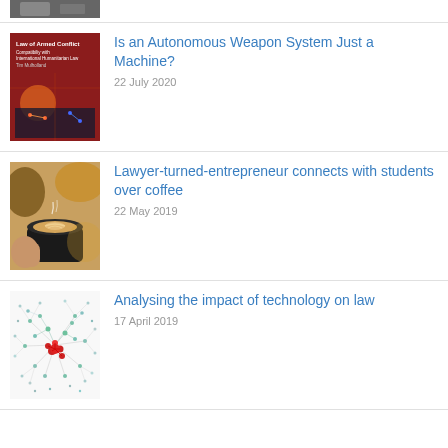[Figure (photo): Partially visible image at top of page, clipped]
[Figure (photo): Book cover: Law of Armed Conflict, Compatibility with International Humanitarian Law, by Tim Mulholland, with dark red background and illustrated battle scene]
Is an Autonomous Weapon System Just a Machine?
22 July 2020
[Figure (photo): Photo of a person holding a black cup of latte art coffee]
Lawyer-turned-entrepreneur connects with students over coffee
22 May 2019
[Figure (network-graph): Network graph visualization with green and grey nodes and red highlighted cluster nodes, representing legal citation or technology network analysis]
Analysing the impact of technology on law
17 April 2019